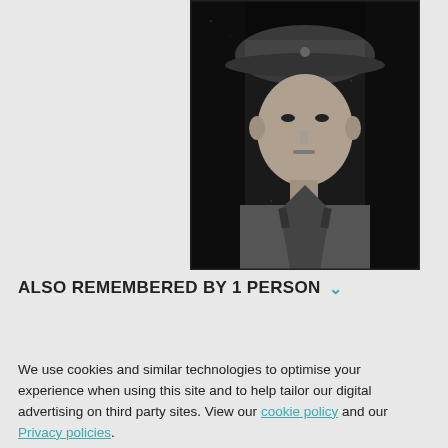[Figure (photo): Black and white photograph of a soldier in military uniform and peaked cap, portrait style, shown from chest up against dark background.]
ALSO REMEMBERED BY 1 PERSON ˅
We use cookies and similar technologies to optimise your experience when using this site and to help tailor our digital advertising on third party sites. View our cookie policy and our Privacy policies.